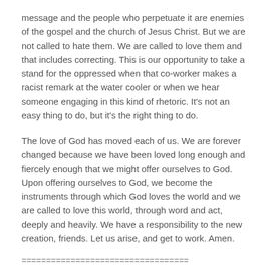message and the people who perpetuate it are enemies of the gospel and the church of Jesus Christ. But we are not called to hate them. We are called to love them and that includes correcting. This is our opportunity to take a stand for the oppressed when that co-worker makes a racist remark at the water cooler or when we hear someone engaging in this kind of rhetoric. It's not an easy thing to do, but it's the right thing to do.
The love of God has moved each of us. We are forever changed because we have been loved long enough and fiercely enough that we might offer ourselves to God. Upon offering ourselves to God, we become the instruments through which God loves the world and we are called to love this world, through word and act, deeply and heavily. We have a responsibility to the new creation, friends. Let us arise, and get to work. Amen.
==================================